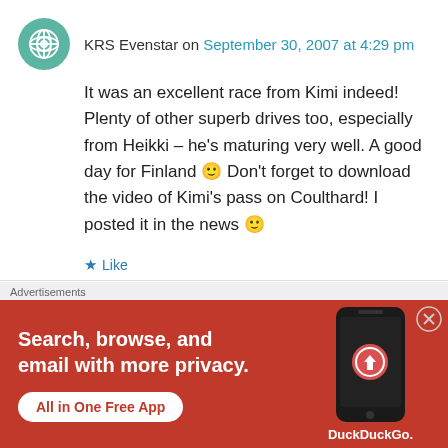KRS Evenstar on September 30, 2007 at 4:29 pm
It was an excellent race from Kimi indeed! Plenty of other superb drives too, especially from Heikki – he's maturing very well. A good day for Finland 🙂 Don't forget to download the video of Kimi's pass on Coulthard! I posted it in the news 🙂
★ Like
↳ Reply
[Figure (screenshot): Advertisement banner for DuckDuckGo: orange background with text 'Search, browse, and email with more privacy. All in One Free App' and image of a smartphone with DuckDuckGo logo]